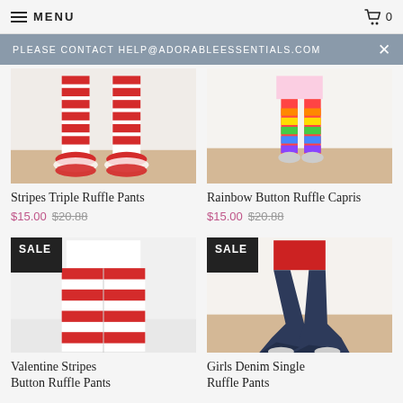MENU | 0
PLEASE CONTACT HELP@ADORABLEESSENTIALS.COM
[Figure (photo): Red and white striped triple ruffle pants on a child, legs and feet visible on wooden floor background]
Stripes Triple Ruffle Pants
$15.00  $20.88
[Figure (photo): Rainbow striped ruffle capris on a child, full body visible on wooden floor background]
Rainbow Button Ruffle Capris
$15.00  $20.88
[Figure (photo): Valentine red and white striped ruffle pants on a child with SALE badge overlay]
Valentine Stripes Button Ruffle Pants
[Figure (photo): Girls denim single ruffle bell bottom pants on a child with SALE badge overlay]
Girls Denim Single Ruffle Pants